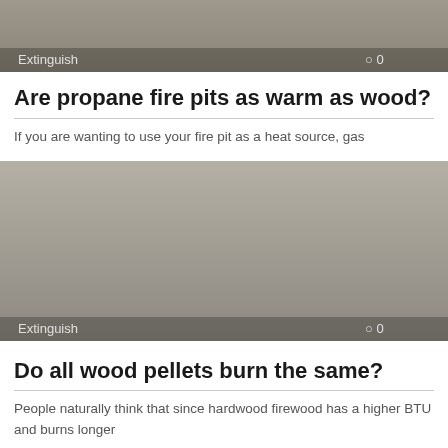[Figure (photo): Gray placeholder image with 'Extinguish' label and comment count '0' in bottom bar]
Are propane fire pits as warm as wood?
If you are wanting to use your fire pit as a heat source, gas
[Figure (photo): Gray placeholder image with 'Extinguish' label and comment count '0' in bottom bar]
Do all wood pellets burn the same?
People naturally think that since hardwood firewood has a higher BTU and burns longer